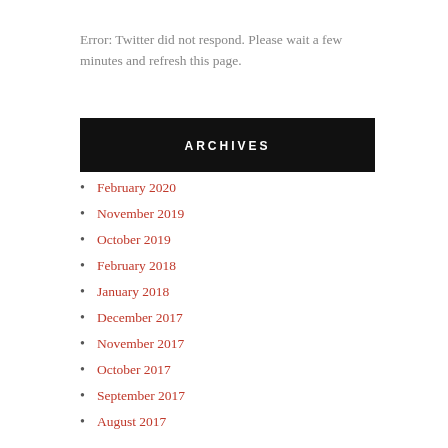Error: Twitter did not respond. Please wait a few minutes and refresh this page.
ARCHIVES
February 2020
November 2019
October 2019
February 2018
January 2018
December 2017
November 2017
October 2017
September 2017
August 2017